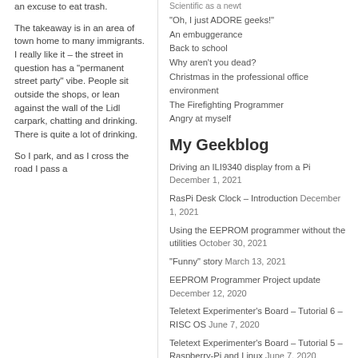an excuse to eat trash.
The takeaway is in an area of town home to many immigrants. I really like it – the street in question has a "permanent street party" vibe. People sit outside the shops, or lean against the wall of the Lidl carpark, chatting and drinking. There is quite a lot of drinking.
So I park, and as I cross the road I pass a
Scientific as a newt
"Oh, I just ADORE geeks!"
An embuggerance
Back to school
Why aren't you dead?
Christmas in the professional office environment
The Firefighting Programmer
Angry at myself
My Geekblog
Driving an ILI9340 display from a Pi December 1, 2021
RasPi Desk Clock – Introduction December 1, 2021
Using the EEPROM programmer without the utilities October 30, 2021
"Funny" story March 13, 2021
EEPROM Programmer Project update December 12, 2020
Teletext Experimenter's Board – Tutorial 6 – RISC OS June 7, 2020
Teletext Experimenter's Board – Tutorial 5 – Raspberry-Pi and Linux June 7, 2020
Teletext Experimenter's Board – Tutorial